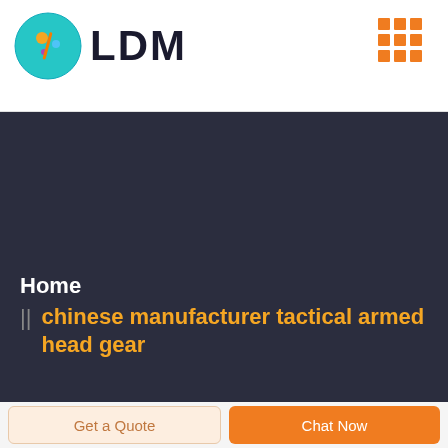[Figure (logo): LDM logo with colorful circle icon and bold LDM text]
[Figure (other): Orange dot grid icon in top right corner]
Home || chinese manufacturer tactical armed head gear
Get a Quote
Chat Now